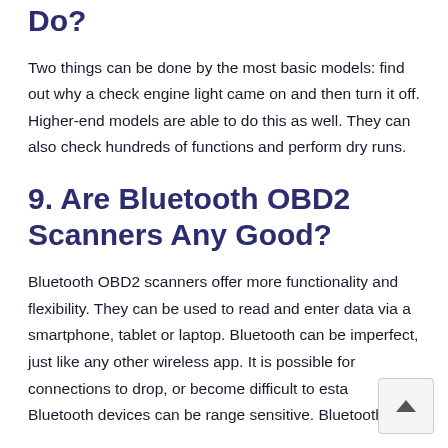Do?
Two things can be done by the most basic models: find out why a check engine light came on and then turn it off. Higher-end models are able to do this as well. They can also check hundreds of functions and perform dry runs.
9. Are Bluetooth OBD2 Scanners Any Good?
Bluetooth OBD2 scanners offer more functionality and flexibility. They can be used to read and enter data via a smartphone, tablet or laptop. Bluetooth can be imperfect, just like any other wireless app. It is possible for connections to drop, or become difficult to esta… Bluetooth devices can be range sensitive. Bluetooth